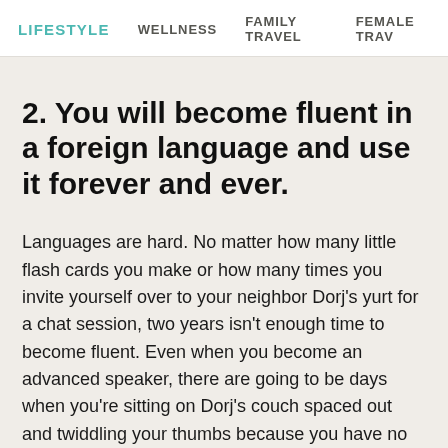LIFESTYLE   WELLNESS   FAMILY TRAVEL   FEMALE TRAV
2. You will become fluent in a foreign language and use it forever and ever.
Languages are hard. No matter how many little flash cards you make or how many times you invite yourself over to your neighbor Dorj's yurt for a chat session, two years isn't enough time to become fluent. Even when you become an advanced speaker, there are going to be days when you're sitting on Dorj's couch spaced out and twiddling your thumbs because you have no clue what is going on in the